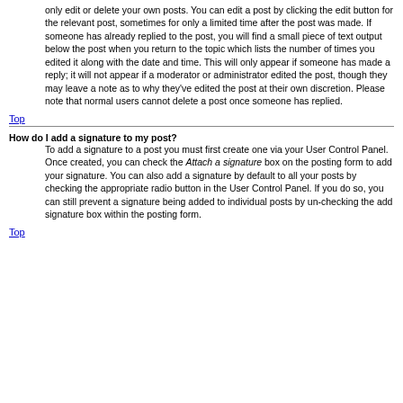only edit or delete your own posts. You can edit a post by clicking the edit button for the relevant post, sometimes for only a limited time after the post was made. If someone has already replied to the post, you will find a small piece of text output below the post when you return to the topic which lists the number of times you edited it along with the date and time. This will only appear if someone has made a reply; it will not appear if a moderator or administrator edited the post, though they may leave a note as to why they've edited the post at their own discretion. Please note that normal users cannot delete a post once someone has replied.
Top
How do I add a signature to my post?
To add a signature to a post you must first create one via your User Control Panel. Once created, you can check the Attach a signature box on the posting form to add your signature. You can also add a signature by default to all your posts by checking the appropriate radio button in the User Control Panel. If you do so, you can still prevent a signature being added to individual posts by un-checking the add signature box within the posting form.
Top